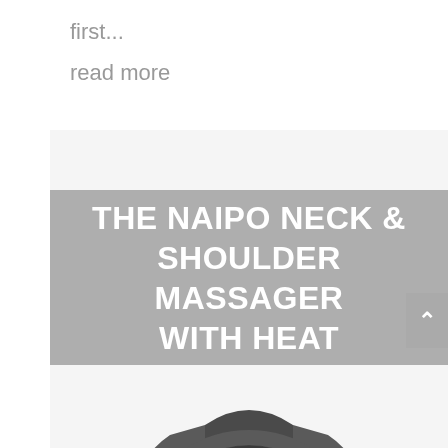first...
read more
THE NAIPO NECK & SHOULDER MASSAGER WITH HEAT
[Figure (photo): Naipo neck and shoulder massager device with heat, shown from above. The massager is U-shaped/wrap-around style in dark gray/charcoal color with red illuminated massage nodes visible in the center area and a control panel on the right side.]